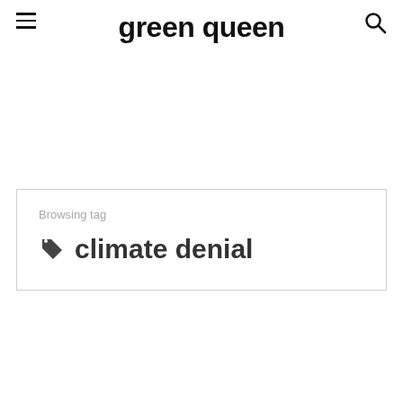green queen
Browsing tag
climate denial